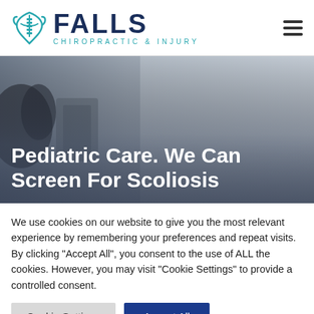[Figure (logo): Falls Chiropractic & Injury logo with teal spine/figure icon and dark blue FALLS text]
[Figure (photo): Hero banner image showing a blurred medical/office setting with gray tones, overlaid with white bold text reading 'Pediatric Care. We Can Screen For Scoliosis']
Pediatric Care. We Can Screen For Scoliosis
We use cookies on our website to give you the most relevant experience by remembering your preferences and repeat visits. By clicking "Accept All", you consent to the use of ALL the cookies. However, you may visit "Cookie Settings" to provide a controlled consent.